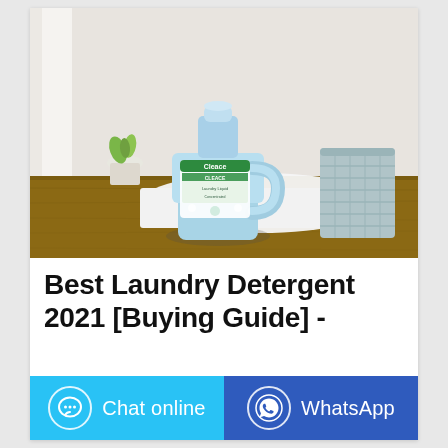[Figure (photo): A light blue laundry detergent bottle labeled 'Cleace' sitting on a wooden surface, with white cloth/towels and a light blue basket in the background, against a white wall with a small plant.]
Best Laundry Detergent 2021 [Buying Guide] -